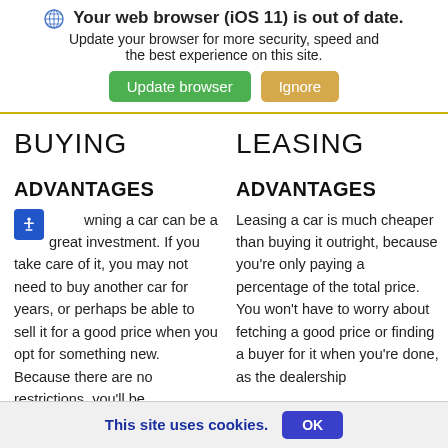Your web browser (iOS 11) is out of date. Update your browser for more security, speed and the best experience on this site.
BUYING
LEASING
ADVANTAGES
ADVANTAGES
Owning a car can be a great investment. If you take care of it, you may not need to buy another car for years, or perhaps be able to sell it for a good price when you opt for something new. Because there are no restrictions, you'll be
Leasing a car is much cheaper than buying it outright, because you're only paying a percentage of the total price. You won't have to worry about fetching a good price or finding a buyer for it when you're done, as the dealership
This site uses cookies. OK